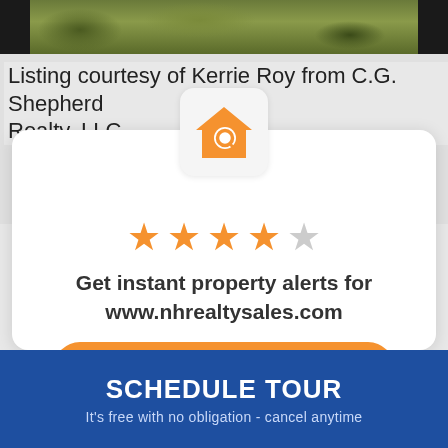[Figure (photo): Outdoor photo strip showing grass/vegetation, cropped at top of page]
Listing courtesy of Kerrie Roy from C.G. Shepherd Realty, LLC
[Figure (logo): Orange house with magnifying glass icon on light gray rounded square background]
[Figure (infographic): 4 out of 5 star rating displayed with orange filled stars and one gray star]
Get instant property alerts for www.nhrealtysales.com
Get the MoveTo App
SCHEDULE TOUR
It's free with no obligation - cancel anytime